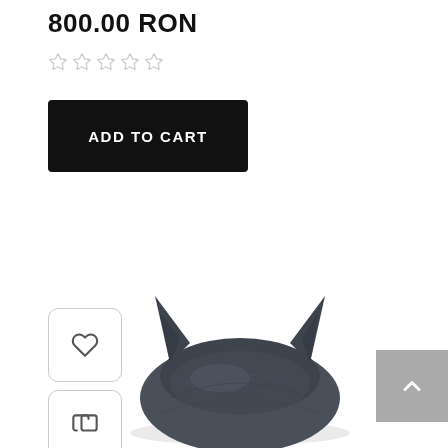800.00 RON
[Figure (other): Five empty star rating icons]
ADD TO CART
[Figure (other): Wishlist (heart) icon button]
[Figure (other): Compare (copy) icon button]
[Figure (other): Scroll to top arrow button on right edge]
[Figure (photo): Batman helmet/mask figure seen from above, dark gray color with pointed ears]